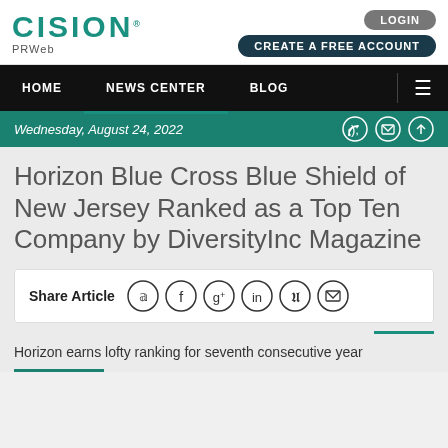CISION PRWeb
LOGIN | CREATE A FREE ACCOUNT
HOME | NEWS CENTER | BLOG
Wednesday, August 24, 2022
Horizon Blue Cross Blue Shield of New Jersey Ranked as a Top Ten Company by DiversityInc Magazine
Share Article
Horizon earns lofty ranking for seventh consecutive year